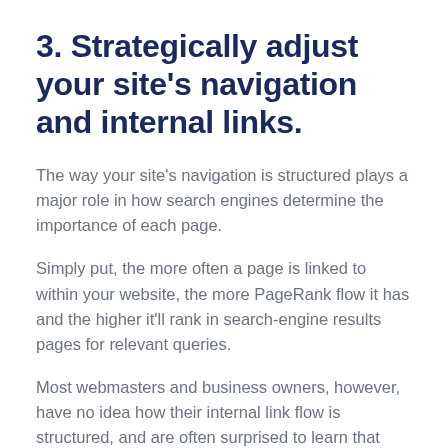3. Strategically adjust your site's navigation and internal links.
The way your site's navigation is structured plays a major role in how search engines determine the importance of each page.
Simply put, the more often a page is linked to within your website, the more PageRank flow it has and the higher it'll rank in search-engine results pages for relevant queries.
Most webmasters and business owners, however, have no idea how their internal link flow is structured, and are often surprised to learn that unimportant pages or pages that over stand a